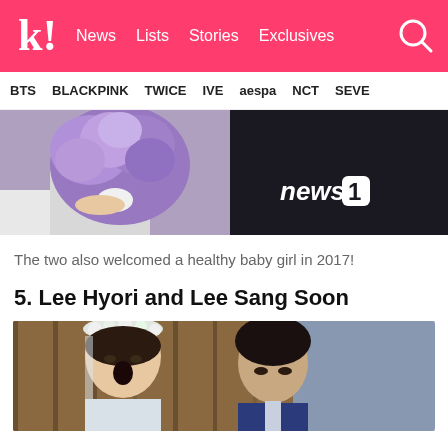Koreaboo | News  Lists  Stories  Exclusives
BTS  BLACKPINK  TWICE  IVE  aespa  NCT  SEVE
[Figure (photo): Wedding photo showing a bride holding a large purple flower bouquet, wearing white dress, with news1 logo visible on the right dark background]
The two also welcomed a healthy baby girl in 2017!
5. Lee Hyori and Lee Sang Soon
[Figure (photo): Lee Hyori wearing a white flower crown and wedding dress, and Lee Sang Soon in a blue suit, standing in front of a wooden door background]